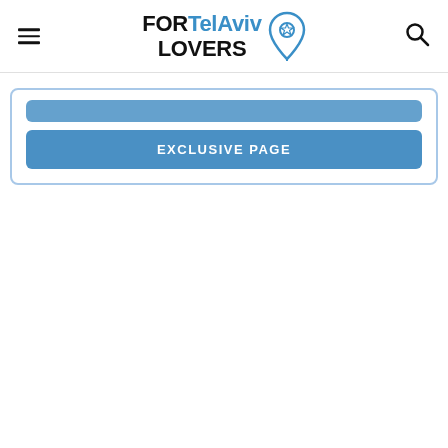FOR Tel Aviv LOVERS
EXCLUSIVE PAGE